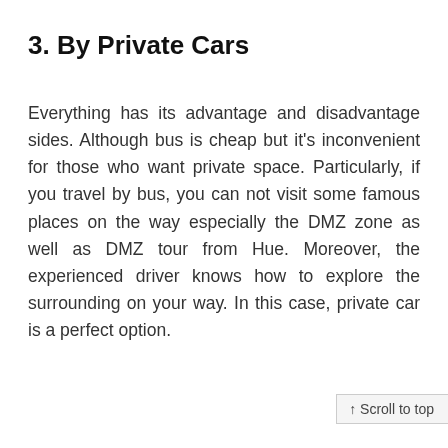3. By Private Cars
Everything has its advantage and disadvantage sides. Although bus is cheap but it's inconvenient for those who want private space. Particularly, if you travel by bus, you can not visit some famous places on the way especially the DMZ zone as well as DMZ tour from Hue. Moreover, the experienced driver knows how to explore the surrounding on your way. In this case, private car is a perfect option.
↑ Scroll to top